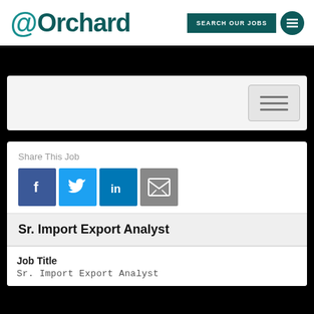@Orchard
[Figure (logo): @Orchard company logo with teal at-sign and dark teal text]
Share This Job
[Figure (infographic): Social share icons: Facebook, Twitter, LinkedIn, Email]
Sr. Import Export Analyst
Job Title
Sr. Import Export Analyst